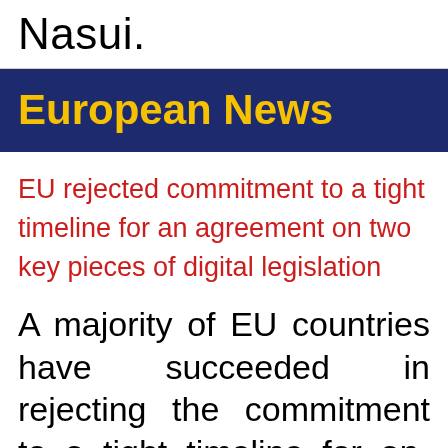Nasui.
European News
EU rejected commitment to a tight timeline for an agreement on two key pieces of digital legislation
A majority of EU countries have succeeded in rejecting the commitment to a tight timeline for an